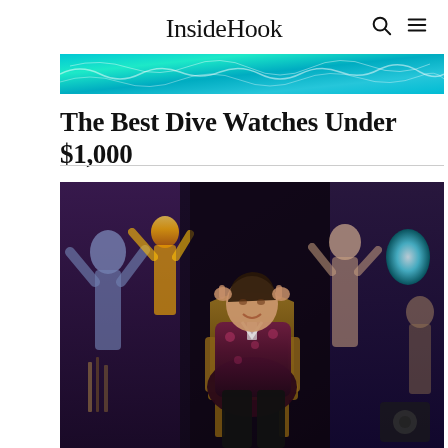InsideHook
[Figure (photo): Top decorative image strip showing water/pool with blue-green ripple pattern]
The Best Dive Watches Under $1,000
[Figure (photo): Man in floral pink-black shirt sitting in gold ornate chair, surrounded by large dark paintings of figures on the wall behind him, smiling and holding his hands up to his temples]